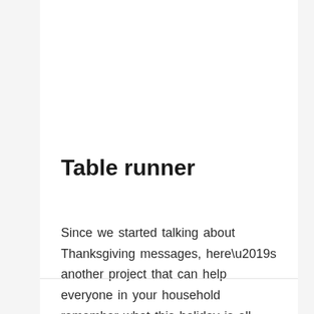Table runner
Since we started talking about Thanksgiving messages, here’s another project that can help everyone in your household remember what this holiday is all about. This table runner offers you